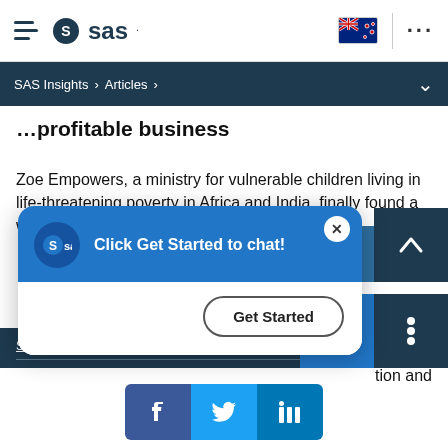[Figure (screenshot): SAS website header with hamburger menu icon, SAS logo, New Zealand flag icon, vertical separator, and ellipsis (more) icon]
SAS Insights > Articles >
profitable business
Zoe Empowers, a ministry for vulnerable children living in life-threatening poverty in Africa and India, finally found a way to measure and reveal
eloped
tion and
[Figure (screenshot): Chat popup with blue header showing SAS logo and text 'Click Get Started to chat!', close X button, and 'Get Started' button]
Subscribe to Insights newsletter
[Figure (screenshot): Social sharing buttons: Facebook, Twitter, LinkedIn]